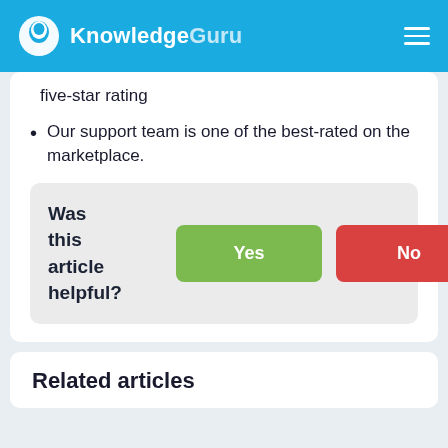KnowledgeGuru
five-star rating
Our support team is one of the best-rated on the marketplace.
Was this article helpful? Yes No
Related articles